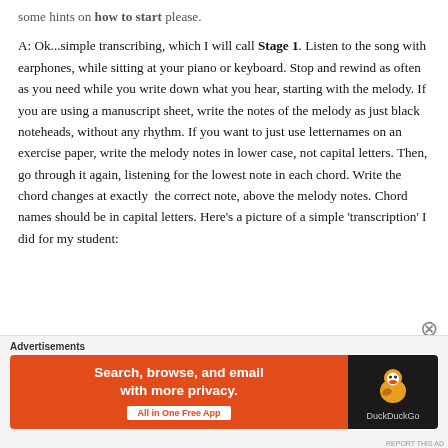some hints on how to start please.
A: Ok...simple transcribing, which I will call Stage 1. Listen to the song with earphones, while sitting at your piano or keyboard. Stop and rewind as often as you need while you write down what you hear, starting with the melody. If you are using a manuscript sheet, write the notes of the melody as just black noteheads, without any rhythm. If you want to just use letternames on an exercise paper, write the melody notes in lower case, not capital letters. Then, go through it again, listening for the lowest note in each chord. Write the chord changes at exactly  the correct note, above the melody notes. Chord names should be in capital letters. Here’s a picture of a simple ‘transcription’ I did for my student:
Advertisements
[Figure (infographic): DuckDuckGo advertisement banner: orange left panel with white bold text 'Search, browse, and email with more privacy.' and white button 'All in One Free App'. Black right panel with DuckDuckGo duck logo and brand name.]